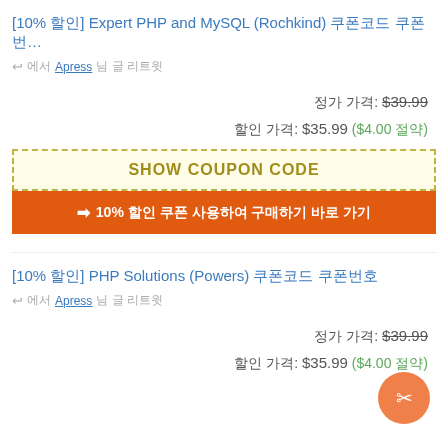[10% 할인] Expert PHP and MySQL (Rochkind) 쿠폰코드 쿠폰번호로
↩ 에서 Apress 님 글 리트윗
정가 가격: $39.99
할인 가격: $35.99 ($4.00 절약)
SHOW COUPON CODE
❯ 10% 할인 쿠폰 사용하여 구매하기 바로 가기
[10% 할인] PHP Solutions (Powers) 쿠폰코드 쿠폰번호
↩ 에서 Apress 님 글 리트윗
정가 가격: $39.99
할인 가격: $35.99 ($4.00 절약)